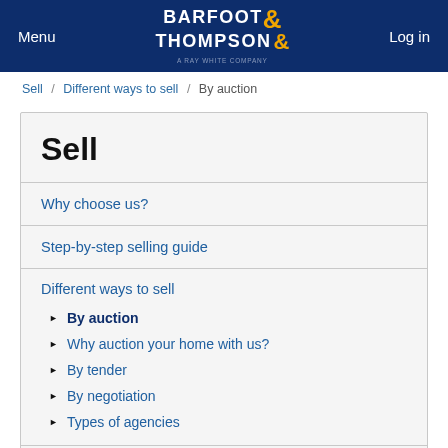Menu | BARFOOT & THOMPSON | Log in
Sell / Different ways to sell / By auction
Sell
Why choose us?
Step-by-step selling guide
Different ways to sell
► By auction
► Why auction your home with us?
► By tender
► By negotiation
► Types of agencies
Our Commission Rates